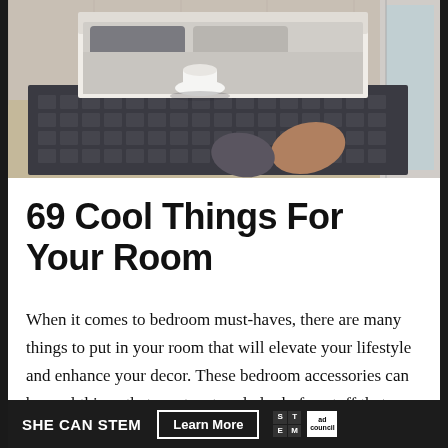[Figure (photo): Modern minimalist bedroom with a platform bed, dark patterned area rug, small round side table, and decorative pillows on the floor. Neutral tones with large windows.]
69 Cool Things For Your Room
When it comes to bedroom must-haves, there are many things to put in your room that will elevate your lifestyle and enhance your decor. These bedroom accessories can be cool things that create a trendy look, fun stuff that makes your personal
[Figure (other): SHE CAN STEM advertisement banner with 'Learn More' button, STEM logo grid, and Ad Council logo]